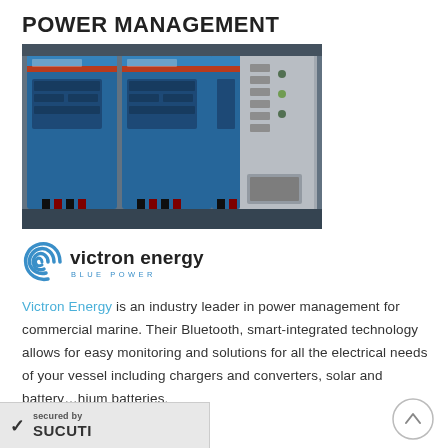POWER MANAGEMENT
[Figure (photo): Row of blue Victron Energy inverter/charger units mounted on a wall with black cables, next to a grey electrical panel]
[Figure (logo): Victron Energy Blue Power logo with blue spiral wave symbol and text 'victron energy BLUE POWER']
Victron Energy is an industry leader in power management for commercial marine. Their Bluetooth, smart-integrated technology allows for easy monitoring and solutions for all the electrical needs of your vessel including chargers and converters, solar and battery…hium batteries.